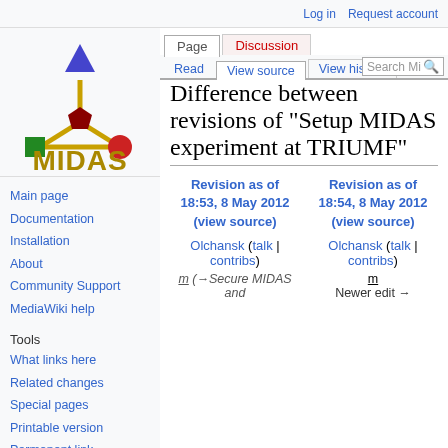Log in  Request account
[Figure (logo): MIDAS wiki logo: molecular structure with blue, red, dark-red, green and yellow spheres above the text MIDAS in gold letters]
Main page
Documentation
Installation
About
Community Support
MediaWiki help
Tools
What links here
Related changes
Special pages
Printable version
Permanent link
Page information
Difference between revisions of "Setup MIDAS experiment at TRIUMF"
| Revision as of 18:53, 8 May 2012 (view source) | Revision as of 18:54, 8 May 2012 (view source) |
| --- | --- |
| Olchansk (talk | contribs) | Olchansk (talk | contribs) |
| m (→Secure MIDAS and | m
Newer edit → |